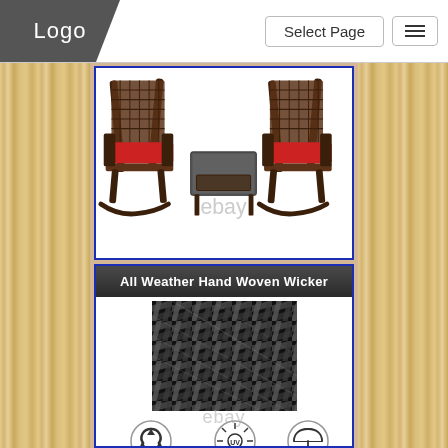[Figure (screenshot): Website navigation bar with Logo placeholder in dark gray trapezoid shape on left, 'Select Page' dropdown in center, and hamburger menu icon on right, on white background]
[Figure (photo): Outdoor patio set with two dark wicker rocking chairs with red cushions and a small square wicker coffee table, on white background with eBay watermark]
All Weather Hand Woven Wicker
[Figure (photo): Close-up texture photo of dark black/gray hand-woven wicker material showing interlaced pattern]
[Figure (infographic): Three circular icons: Environmental Friendly (recycling symbol), Anti UV (UV sun icon), Water Resistant (umbrella icon) with eBay watermark]